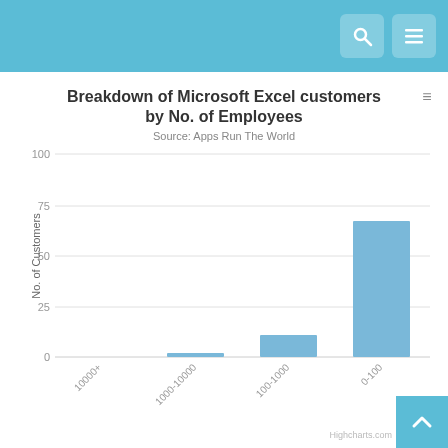[Figure (bar-chart): Breakdown of Microsoft Excel customers by No. of Employees]
Highcharts.com